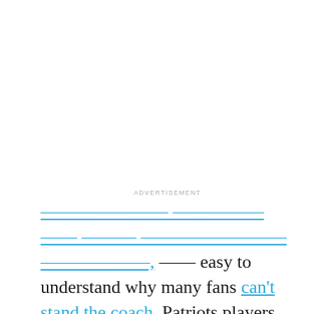ADVERTISEMENT
[truncated link text] easy to understand why many fans can't stand the coach. Patriots players, however, always seem to buy into his message.
Although Belichick might not seem warm and fuzzy, he does sometimes break character for a brief moment. He'll occasionally praise some of his players, but he usually waits for them to leave New England first.